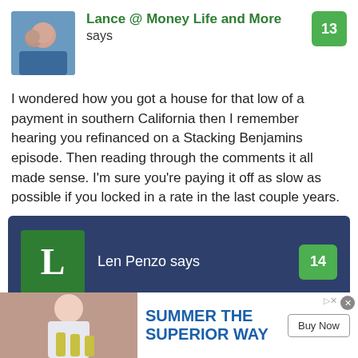Lance @ Money Life and More says
13
I wondered how you got a house for that low of a payment in southern California then I remember hearing you refinanced on a Stacking Benjamins episode. Then reading through the comments it all made sense. I’m sure you’re paying it off as slow as possible if you locked in a rate in the last couple years.
Len Penzo says
14
[Figure (photo): Advertisement banner: photo of person holding beer bottles on left, text SUMMER THE SUPERIOR WAY in blue on right with Buy Now button]